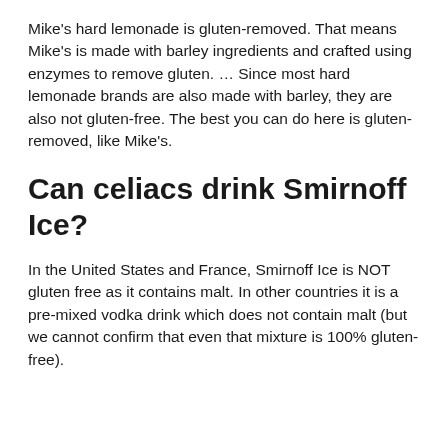Mike's hard lemonade is gluten-removed. That means Mike's is made with barley ingredients and crafted using enzymes to remove gluten. … Since most hard lemonade brands are also made with barley, they are also not gluten-free. The best you can do here is gluten-removed, like Mike's.
Can celiacs drink Smirnoff Ice?
In the United States and France, Smirnoff Ice is NOT gluten free as it contains malt. In other countries it is a pre-mixed vodka drink which does not contain malt (but we cannot confirm that even that mixture is 100% gluten-free).